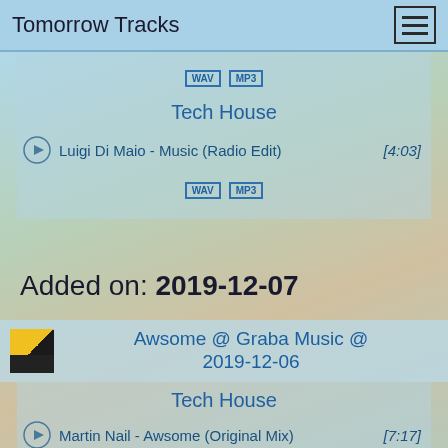Tomorrow Tracks
WAV  MP3
Tech House
Luigi Di Maio - Music (Radio Edit)  [4:03]
WAV  MP3
Added on: 2019-12-07
Awsome @ Graba Music @ 2019-12-06
Tech House
Martin Nail - Awsome (Original Mix)  [7:17]